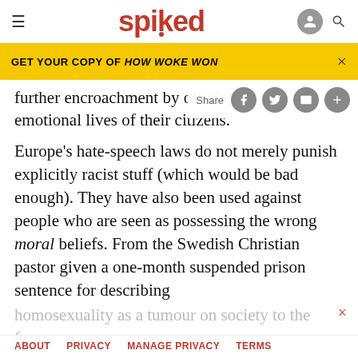spiked
GET YOUR COPY OF HOW WOKE WON
further encroachment by officia… emotional lives of their citizens.
Europe's hate-speech laws do not merely punish explicitly racist stuff (which would be bad enough). They have also been used against people who are seen as possessing the wrong moral beliefs. From the Swedish Christian pastor given a one-month suspended prison sentence for describing homosexuality as a tumour on society to the former actress Brigitte Bardot being fined 30,000 francs for
ABOUT   PRIVACY   MANAGE PRIVACY   TERMS